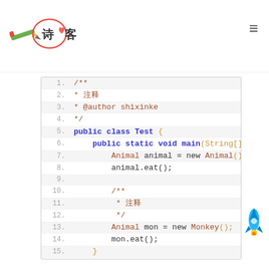[Figure (logo): 诗客 (Shike) logo with pen and circle motif]
≡ (hamburger menu icon)
Code block showing Java polymorphism example:
1. /**
2. * 注释
3. * @author shixinke
4. */
5. public class Test {
6.     public static void main(String[] args) {
7.         Animal animal = new Animal();
8.         animal.eat();
9.
10.         /**
11.          * 注释
12.          */
13.         Animal mon = new Monkey();
14.         mon.eat();
15.     }
16. }